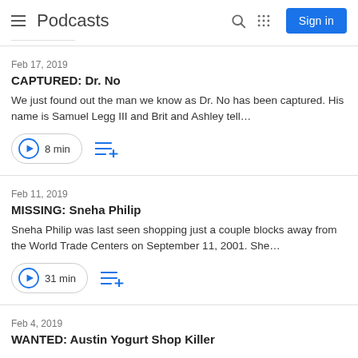Podcasts
Feb 17, 2019
CAPTURED: Dr. No
We just found out the man we know as Dr. No has been captured. His name is Samuel Legg III and Brit and Ashley tell…
8 min
Feb 11, 2019
MISSING: Sneha Philip
Sneha Philip was last seen shopping just a couple blocks away from the World Trade Centers on September 11, 2001. She…
31 min
Feb 4, 2019
WANTED: Austin Yogurt Shop Killer